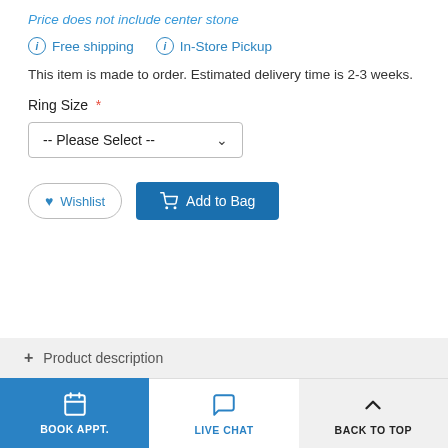Price does not include center stone
Free shipping   In-Store Pickup
This item is made to order. Estimated delivery time is 2-3 weeks.
Ring Size *
-- Please Select --
Wishlist   Add to Bag
+ Product description
BOOK APPT.   LIVE CHAT   BACK TO TOP